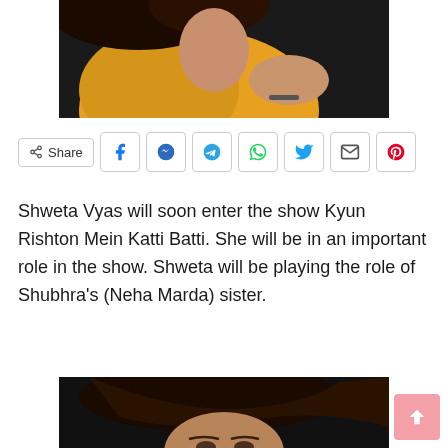[Figure (photo): Woman in yellow outfit with dark hair against dark background — partial top crop]
[Figure (infographic): Social share bar with Share button, Facebook, Messenger, Telegram, WhatsApp, Twitter, Email, Pinterest icons]
Shweta Vyas will soon enter the show Kyun Rishton Mein Katti Batti. She will be in an important role in the show. Shweta will be playing the role of Shubhra's (Neha Marda) sister.
[Figure (photo): Young woman with long dark hair against dark background — bottom partial crop]